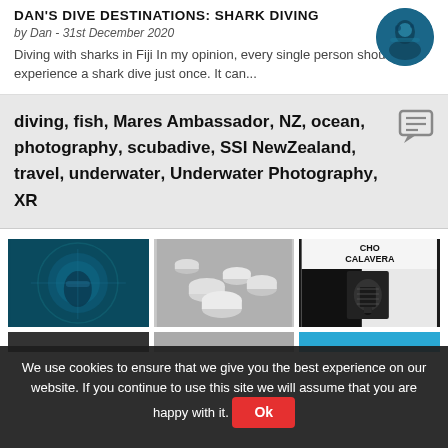DAN'S DIVE DESTINATIONS: SHARK DIVING
by Dan - 31st December 2020
Diving with sharks in Fiji In my opinion, every single person should experience a shark dive just once. It can...
diving, fish, Mares Ambassador, NZ, ocean, photography, scubadive, SSI NewZealand, travel, underwater, Underwater Photography, XR
[Figure (photo): Underwater diver inside a structure with teal/blue water]
[Figure (photo): Pile of white plastic pipes or rolls]
[Figure (photo): Psycho Calavera book cover with a dark lantern/device]
We use cookies to ensure that we give you the best experience on our website. If you continue to use this site we will assume that you are happy with it. Ok